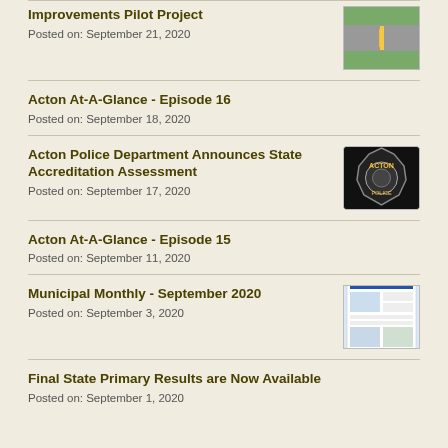Improvements Pilot Project
Posted on: September 21, 2020
Acton At-A-Glance - Episode 16
Posted on: September 18, 2020
Acton Police Department Announces State Accreditation Assessment
Posted on: September 17, 2020
Acton At-A-Glance - Episode 15
Posted on: September 11, 2020
Municipal Monthly - September 2020
Posted on: September 3, 2020
Final State Primary Results are Now Available
Posted on: September 1, 2020